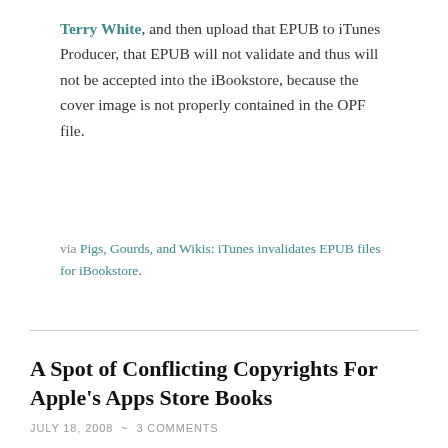Terry White, and then upload that EPUB to iTunes Producer, that EPUB will not validate and thus will not be accepted into the iBookstore, because the cover image is not properly contained in the OPF file.
via Pigs, Gourds, and Wikis: iTunes invalidates EPUB files for iBookstore.
A Spot of Conflicting Copyrights For Apple's Apps Store Books
JULY 18, 2008 ~ 3 COMMENTS